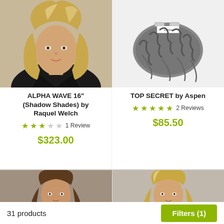[Figure (photo): Woman with wavy blonde hair wearing black top - product photo for Alpha Wave 16"]
[Figure (photo): Close-up of a curly dark grey hairpiece clip-in - product photo for Top Secret by Aspen]
ALPHA WAVE 16" (Shadow Shades) by Raquel Welch
★★★☆☆ 1 Review
$323.00
TOP SECRET by Aspen
★★★★★ 2 Reviews
$85.50
[Figure (photo): Woman with long brown hair - bottom left product photo]
[Figure (photo): Woman with long blonde highlighted hair - bottom right product photo]
31 products
Filters (1)